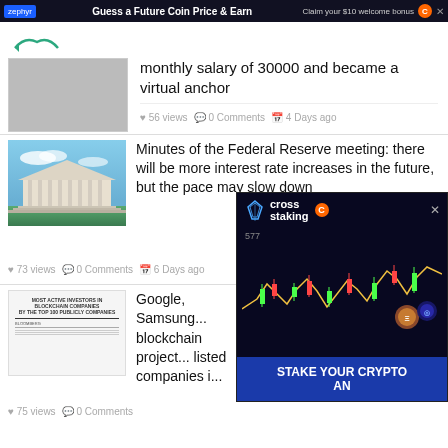Guess a Future Coin Price & Earn
monthly salary of 30000 and became a virtual anchor
56 views  0 Comments  4 Days ago
[Figure (photo): Federal Reserve building exterior with blue sky]
Minutes of the Federal Reserve meeting: there will be more interest rate increases in the future, but the pace may slow down
73 views  0 Comments  6 Days ago
[Figure (screenshot): Document listing most active investors in blockchain companies]
Google, Samsung... blockchain project... listed companies i...
75 views  0 Comments
[Figure (infographic): Cross Staking crypto advertisement overlay with candlestick chart and coins]